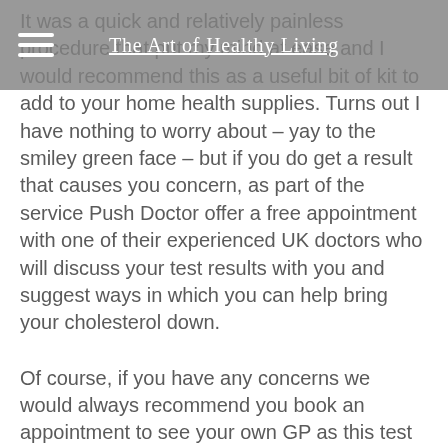The Art of Healthy Living
It was a quick and relatively painless procedure that put my mind at ease and I would recommend this as a useful bit of kit to add to your home health supplies. Turns out I have nothing to worry about – yay to the smiley green face – but if you do get a result that causes you concern, as part of the service Push Doctor offer a free appointment with one of their experienced UK doctors who will discuss your test results with you and suggest ways in which you can help bring your cholesterol down.
Of course, if you have any concerns we would always recommend you book an appointment to see your own GP as this test does only give an indicator, but